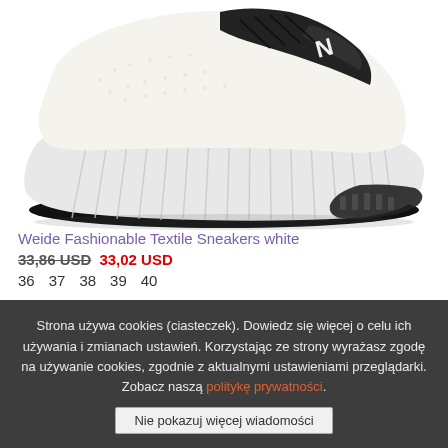[Figure (photo): White Weide fashionable textile sneaker shown from the side, with ribbed white sole and black laces/accent, on white background]
Weide Fashionable Textile Sneakers white
33,86 USD 33,02 USD
36  37  38  39  40
Strona używa cookies (ciasteczek). Dowiedz się więcej o celu ich używania i zmianach ustawień. Korzystając ze strony wyrażasz zgodę na używanie cookies, zgodnie z aktualnymi ustawieniami przeglądarki. Zobacz naszą politykę prywatności.
Nie pokazuj więcej wiadomości